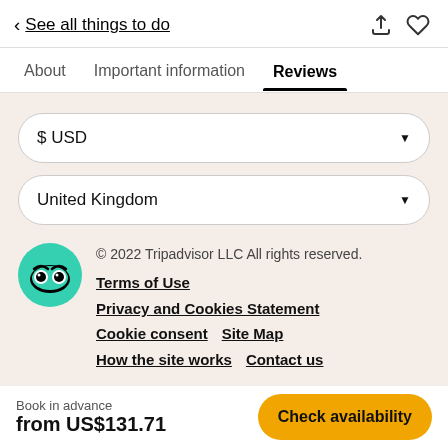‹ See all things to do
About   Important information   Reviews
$USD
United Kingdom
© 2022 Tripadvisor LLC All rights reserved.
Terms of Use
Privacy and Cookies Statement
Cookie consent   Site Map
How the site works   Contact us
This is the version of our website addressed to speakers of English in United Kingdom. If you are a resident of another country or region, please select the appropriate version of Tripadvisor for your country or region in the drop-down menu.
Book in advance
from US$131.71   Check availability